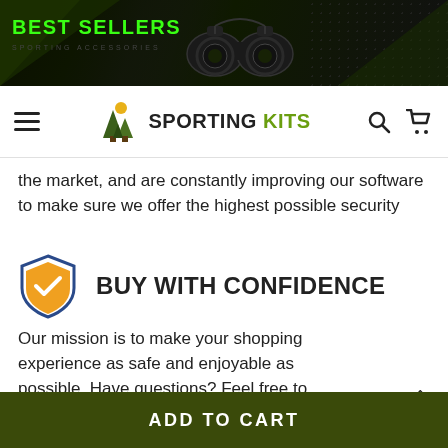[Figure (screenshot): Best Sellers banner with binoculars product image on dark background with green accent text]
SPORTING KITS — Navigation bar with hamburger menu, logo, search and cart icons
the market, and are constantly improving our software to make sure we offer the highest possible security
BUY WITH CONFIDENCE
Our mission is to make your shopping experience as safe and enjoyable as possible. Have questions? Feel free to contact our award-winning customer care team for advice on everything from product specifications to order tracking.
TOP
ADD TO CART